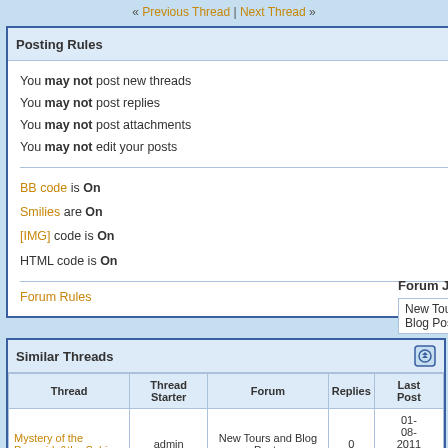« Previous Thread | Next Thread »
Posting Rules
You may not post new threads
You may not post replies
You may not post attachments
You may not edit your posts
BB code is On
Smilies are On
[IMG] code is On
HTML code is On
Forum Rules
Forum Jump
New Tours and Blog Posts
Similar Threads
| Thread | Thread Starter | Forum | Replies | Last Post |
| --- | --- | --- | --- | --- |
| Mystery of the Pyramids&the Sphinx | admin | New Tours and Blog Posts | 0 | 01-08-2011 05:10 AM |
| Mystery of the Pyramids & the Sphinx | admin | New Tours and Blog Posts | 0 | 01-02-2011 08:20 PM |
| Pyramids & |  |  |  | 12- |